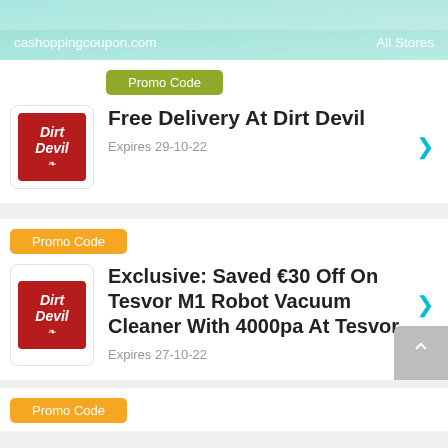cashoppingcoupon.com   All Stores
Promo Code
Free Delivery At Dirt Devil
Expires 29-10-22
Promo Code
Exclusive: Saved €30 Off On Tesvor M1 Robot Vacuum Cleaner With 4000pa At Tesvor
Expires 27-10-22
Promo Code